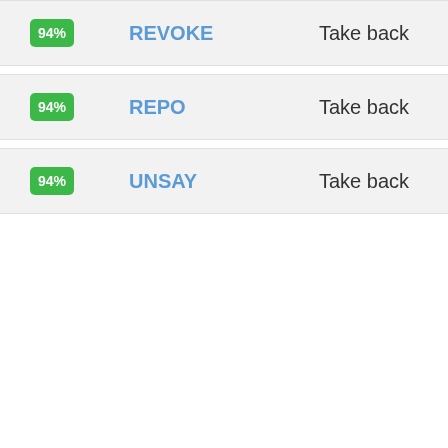94% REVOKE Take back
94% REPO Take back
94% UNSAY Take back